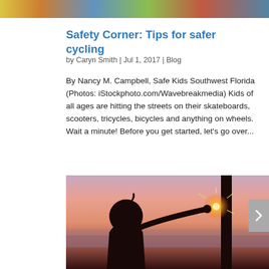[Figure (photo): Top portion of an outdoor photo showing colorful clothing or kite against green foliage background]
Safety Corner: Tips for safer cycling
by Caryn Smith | Jul 1, 2017 | Blog
By Nancy M. Campbell, Safe Kids Southwest Florida (Photos: iStockphoto.com/Wavebreakmedia) Kids of all ages are hitting the streets on their skateboards, scooters, tricycles, bicycles and anything on wheels. Wait a minute! Before you get started, let's go over...
[Figure (photo): Silhouette of a child holding a sparkler at sunset, with a pink and orange sky and water in the background. A dark vertical pole is visible on the right side.]